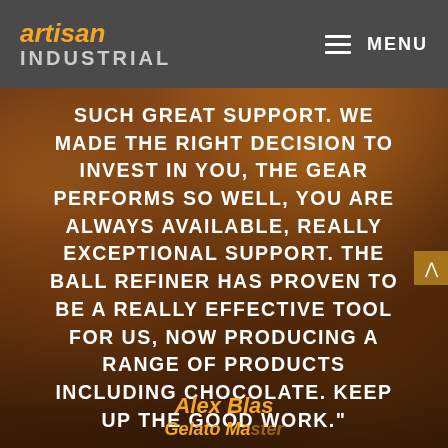artisan INDUSTRIAL — MENU
[Figure (photo): Close-up photo of dark chocolate pieces and chocolate chips on a surface, warm amber/brown tones with bokeh lighting]
SUCH GREAT SUPPORT. WE MADE THE RIGHT DECISION TO INVEST IN YOU, THE GEAR PERFORMS SO WELL, YOU ARE ALWAYS AVAILABLE, REALLY EXCEPTIONAL SUPPORT. THE BALL REFINER HAS PROVEN TO BE A REALLY EFFECTIVE TOOL FOR US, NOW PRODUCING A RANGE OF PRODUCTS INCLUDING CHOCOLATE. KEEP UP THE GOOD WORK."
Alex Blas
Gelato Master